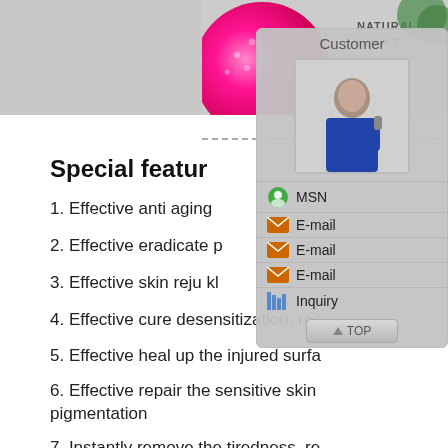[Figure (photo): Top portion showing a pink ball/sphere against a gray background with some green foliage visible, and text reading NATURAL LIGHT]
[Figure (screenshot): Customer service popup overlay showing a photo of a woman in business attire with contact options: MSN, E-mail (x3), Inquiry, and a TOP button]
Special featur
1. Effective anti aging
2. Effective eradicate p
3. Effective skin reju kl
4. Effective cure desensitization, rec
5. Effective heal up the injured surfa
6. Effective repair the sensitive skin pigmentation
7. Instantly remove the tiredness, re
8. Regulating incretion, ovary care, b